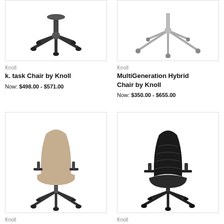[Figure (photo): k. task Chair by Knoll base/caster detail on white background]
Knoll
k. task Chair by Knoll
Now: $498.00 - $571.00
[Figure (photo): MultiGeneration Hybrid Chair by Knoll base/caster detail on white background]
Knoll
MultiGeneration Hybrid Chair by Knoll
Now: $350.00 - $655.00
[Figure (photo): Full office chair with tan/beige upholstery and black base on white background]
Knoll
ReGeneration Chair by Knoll (partial, cut off)
[Figure (photo): Black mesh office chair with black base on white background]
Knoll
ReGeneration Chair by Knoll (partial, cut off)